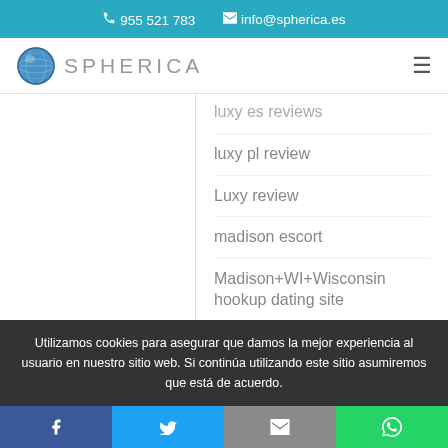955 521 783  info@spherica.es
[Figure (logo): Spherica globe logo with text SPHERICA]
luxy es reviews
luxy pl review
Luxy review
madison escort
Madison+WI+Wisconsin hookup dating site
Madison+WI+Wisconsin hookup sites
Utilizamos cookies para asegurar que damos la mejor experiencia al usuario en nuestro sitio web. Si continúa utilizando este sitio asumiremos que está de acuerdo.